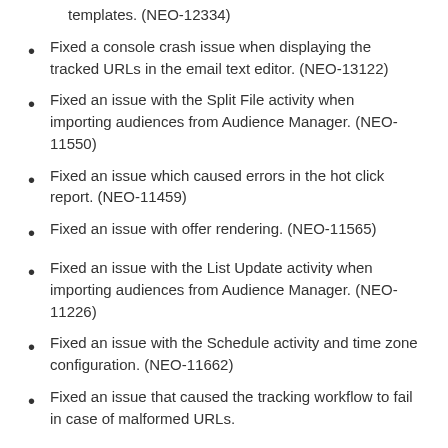templates. (NEO-12334)
Fixed a console crash issue when displaying the tracked URLs in the email text editor. (NEO-13122)
Fixed an issue with the Split File activity when importing audiences from Audience Manager. (NEO-11550)
Fixed an issue which caused errors in the hot click report. (NEO-11459)
Fixed an issue with offer rendering. (NEO-11565)
Fixed an issue with the List Update activity when importing audiences from Audience Manager. (NEO-11226)
Fixed an issue with the Schedule activity and time zone configuration. (NEO-11662)
Fixed an issue that caused the tracking workflow to fail in case of malformed URLs.